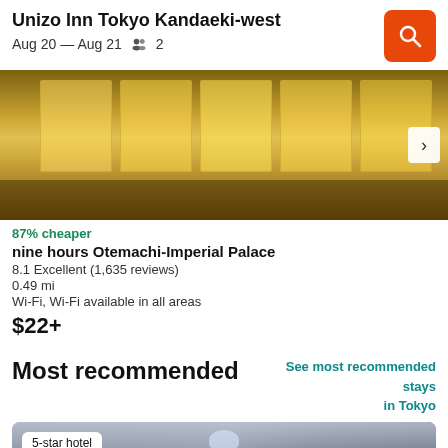Unizo Inn Tokyo Kandaeki-west
Aug 20 — Aug 21  2
[Figure (photo): Interior hotel photo showing warm lit ceiling panels with golden/amber lighting]
87% cheaper
nine hours Otemachi-Imperial Palace
8.1 Excellent (1,635 reviews)
0.49 mi
Wi-Fi, Wi-Fi available in all areas
$22+
Most recommended
See most recommended stays in Tokyo
[Figure (photo): Hotel room photo showing ceiling with chandelier/light fixture, blue accents visible, 5-star hotel badge overlay]